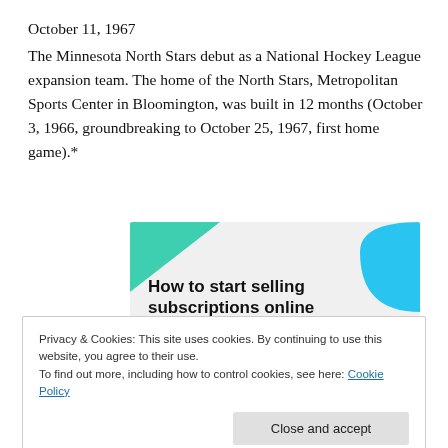October 11, 1967
The Minnesota North Stars debut as a National Hockey League expansion team. The home of the North Stars, Metropolitan Sports Center in Bloomington, was built in 12 months (October 3, 1966, groundbreaking to October 25, 1967, first home game).*
[Figure (illustration): Advertisement banner with teal/cyan decorative shapes and bold text reading 'How to start selling subscriptions online']
Privacy & Cookies: This site uses cookies. By continuing to use this website, you agree to their use.
To find out more, including how to control cookies, see here: Cookie Policy
Close and accept